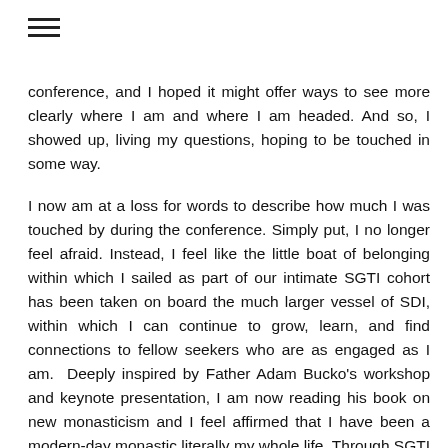conference, and I hoped it might offer ways to see more clearly where I am and where I am headed. And so, I showed up, living my questions, hoping to be touched in some way.
I now am at a loss for words to describe how much I was touched by during the conference. Simply put, I no longer feel afraid. Instead, I feel like the little boat of belonging within which I sailed as part of our intimate SGTI cohort has been taken on board the much larger vessel of SDI, within which I can continue to grow, learn, and find connections to fellow seekers who are as engaged as I am.  Deeply inspired by Father Adam Bucko's workshop and keynote presentation, I am now reading his book on new monasticism and I feel affirmed that I have been a modern-day monastic literally my whole life. Through SGTI and SDI, I have found my fellow monks.
On the first day of the SDI conference, I woke to find a wet,